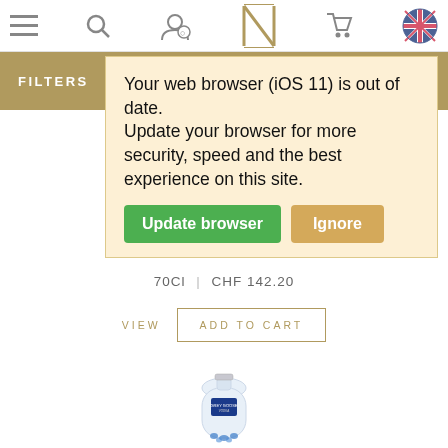[Figure (screenshot): Navigation bar with hamburger menu, search icon, user/account icon, stylized N logo, cart icon, and UK flag icon]
FILTERS
Your web browser (iOS 11) is out of date. Update your browser for more security, speed and the best experience on this site.
Update browser  Ignore
70Cl  |  CHF 142.20
VIEW   ADD TO CART
[Figure (photo): Grey Goose vodka bottle, clear glass with blue label, partially visible at bottom of page]